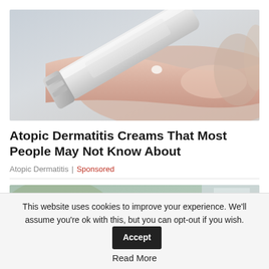[Figure (photo): Close-up photo of a hand squeezing cream from a tube onto a fingertip, gray/silver tube cap visible]
Atopic Dermatitis Creams That Most People May Not Know About
Atopic Dermatitis | Sponsored
[Figure (photo): Partial photo showing the back of a child's head with curly brown hair, blurred green background]
This website uses cookies to improve your experience. We'll assume you're ok with this, but you can opt-out if you wish. Accept Read More